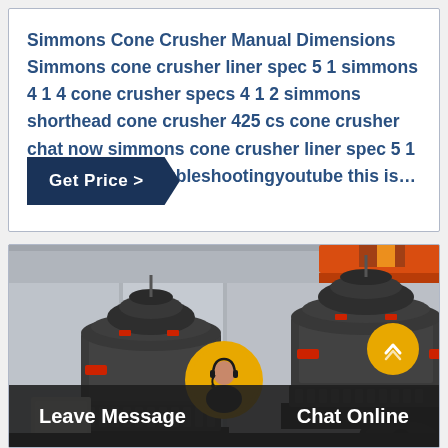Simmons Cone Crusher Manual Dimensions Simmons cone crusher liner spec 5 1 simmons 4 1 4 cone crusher specs 4 1 2 simmons shorthead cone crusher 425 cs cone crusher chat now simmons cone crusher liner spec 5 1 cone crusher troubleshootingyoutube this is…
[Figure (other): Get Price > button (dark navy parallelogram/arrow shape)]
[Figure (photo): Industrial manufacturing facility with two large cone crushers (grey/black heavy machinery with red fittings and springs) in a factory setting with orange overhead crane. Live chat UI overlay at bottom with Leave Message, Chat Online, and headset avatar.]